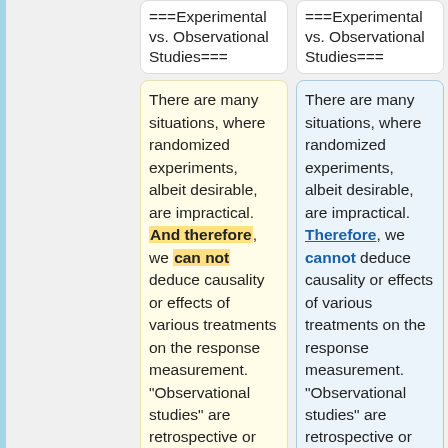===Experimental vs. Observational Studies===
===Experimental vs. Observational Studies===
There are many situations, where randomized experiments, albeit desirable, are impractical. And therefore, we can not deduce causality or effects of various treatments on the response measurement. "Observational studies" are retrospective or prospective studies where
There are many situations, where randomized experiments, albeit desirable, are impractical. Therefore, we cannot deduce causality or effects of various treatments on the response measurement. "Observational studies" are retrospective or prospective studies where the investigator